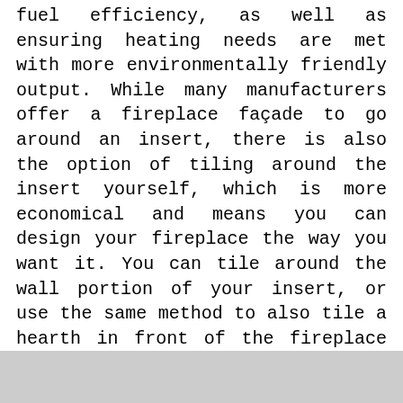fuel efficiency, as well as ensuring heating needs are met with more environmentally friendly output. While many manufacturers offer a fireplace façade to go around an insert, there is also the option of tiling around the insert yourself, which is more economical and means you can design your fireplace the way you want it. You can tile around the wall portion of your insert, or use the same method to also tile a hearth in front of the fireplace as well.